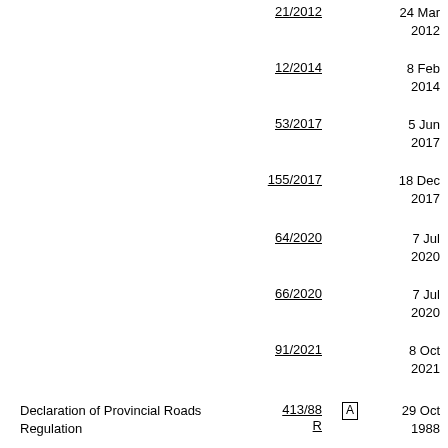21/2012  24 Mar 2012
12/2014  8 Feb 2014
53/2017  5 Jun 2017
155/2017  18 Dec 2017
64/2020  7 Jul 2020
66/2020  7 Jul 2020
91/2021  8 Oct 2021
Declaration of Provincial Roads Regulation  413/88 A R  29 Oct 1988
59/89  18 Mar 1989
95/89  29 Apr 1989
195/89  26 Aug 1989
111/90  9 Jun